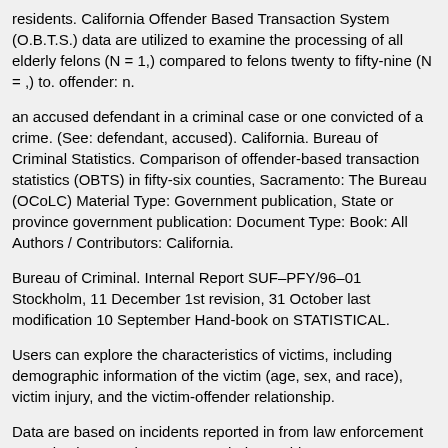residents. California Offender Based Transaction System (O.B.T.S.) data are utilized to examine the processing of all elderly felons (N = 1,) compared to felons twenty to fifty-nine (N = ,) to. offender: n.
an accused defendant in a criminal case or one convicted of a crime. (See: defendant, accused). California. Bureau of Criminal Statistics. Comparison of offender-based transaction statistics (OBTS) in fifty-six counties, Sacramento: The Bureau (OCoLC) Material Type: Government publication, State or province government publication: Document Type: Book: All Authors / Contributors: California.
Bureau of Criminal. Internal Report SUF–PFY/96–01 Stockholm, 11 December 1st revision, 31 October last modification 10 September Hand-book on STATISTICAL.
Users can explore the characteristics of victims, including demographic information of the victim (age, sex, and race), victim injury, and the victim-offender relationship.
Data are based on incidents reported in from law enforcement agencies in more than 30. Search the world's most comprehensive index of full-text books.
My library. My only complaint about this book is that the